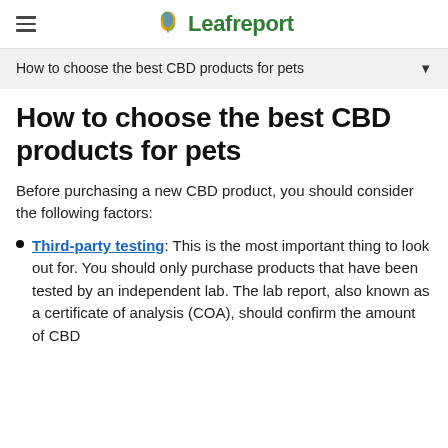Leafreport
How to choose the best CBD products for pets
How to choose the best CBD products for pets
Before purchasing a new CBD product, you should consider the following factors:
Third-party testing: This is the most important thing to look out for. You should only purchase products that have been tested by an independent lab. The lab report, also known as a certificate of analysis (COA), should confirm the amount of CBD